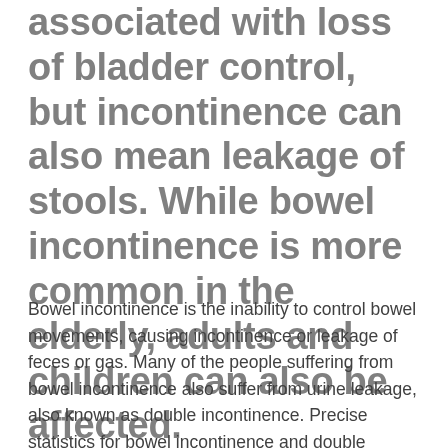associated with loss of bladder control, but incontinence can also mean leakage of stools. While bowel incontinence is more common in the elderly, adults and children can also be affected.
Bowel incontinence is the inability to control bowel movements, causing incontinence or leakage of feces or gas. Many of the people suffering from bowel incontinence also suffer from urine leakage, also known as double incontinence. Precise statistics for bowel incontinence and double incontinence are difficult to determine. This is mainly due to the taboos surrounding